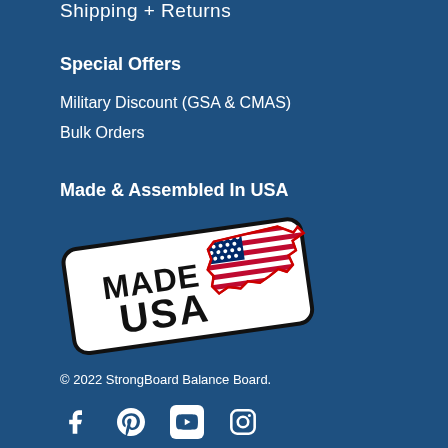Shipping + Returns
Special Offers
Military Discount (GSA & CMAS)
Bulk Orders
Made & Assembled In USA
[Figure (logo): Made in USA badge with American flag map on white rounded rectangle, tilted slightly]
© 2022 StrongBoard Balance Board.
[Figure (infographic): Social media icons: Facebook, Pinterest, YouTube, Instagram]